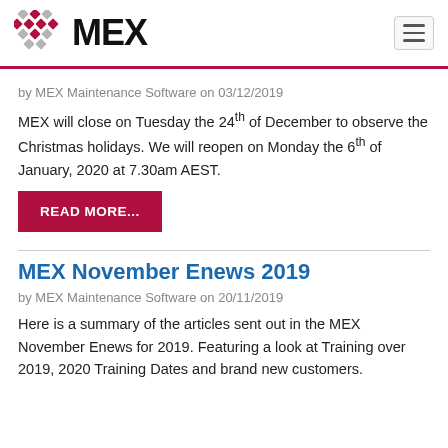MEX
by MEX Maintenance Software on 03/12/2019
MEX will close on Tuesday the 24th of December to observe the Christmas holidays. We will reopen on Monday the 6th of January, 2020 at 7.30am AEST.
READ MORE...
MEX November Enews 2019
by MEX Maintenance Software on 20/11/2019
Here is a summary of the articles sent out in the MEX November Enews for 2019. Featuring a look at Training over 2019, 2020 Training Dates and brand new customers.